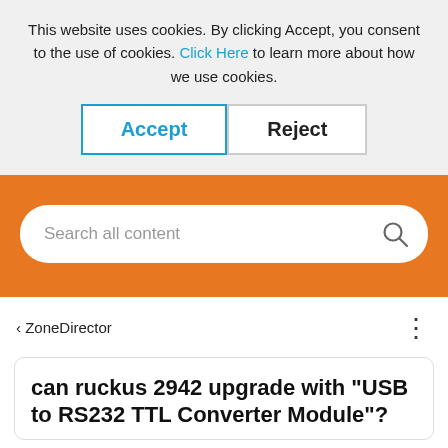This website uses cookies. By clicking Accept, you consent to the use of cookies. Click Here to learn more about how we use cookies.
[Figure (screenshot): Accept and Reject cookie consent buttons]
[Figure (screenshot): Orange background search bar with placeholder text 'Search all content' and a search icon]
< ZoneDirector
can ruckus 2942 upgrade with "USB to RS232 TTL Converter Module"?